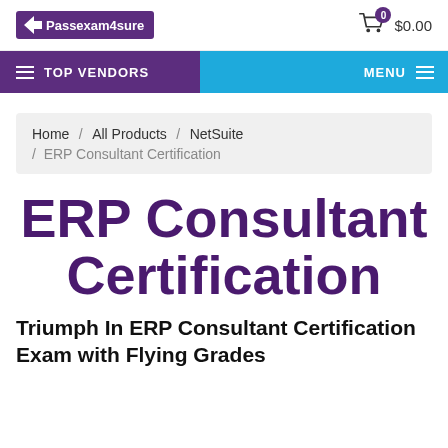[Figure (logo): Passexam4sure logo with purple background and white text]
$0.00
TOP VENDORS   MENU
Home / All Products / NetSuite / ERP Consultant Certification
ERP Consultant Certification
Triumph In ERP Consultant Certification Exam with Flying Grades